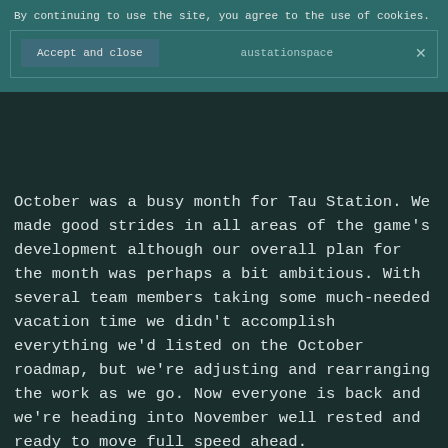By continuing to use the site, you agree to the use of cookies.
Accept and close
austationspace
October was a busy month for Tau Station. We made good strides in all areas of the game's development although our overall plan for the month was perhaps a bit ambitious. With several team members taking some much-needed vacation time we didn't accomplish everything we'd listed on the October roadmap, but we're adjusting and rearranging the work as we go. Now everyone is back and we're heading into November well rested and ready to move full speed ahead.
This month our Managing Director, Leila, also